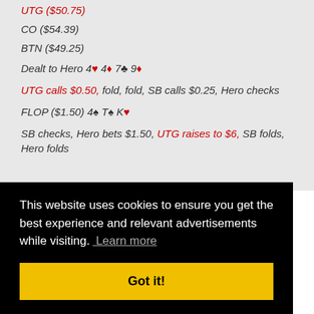UTG ($50.75)
CO ($54.39)
BTN ($49.25)
Dealt to Hero 4♥ 4♦ 7♣ 9♦
UTG calls $0.50, fold, fold, SB calls $0.25, Hero checks
FLOP ($1.50) 4♠ T♠ K♥
SB checks, Hero bets $1.50, UTG raises to $6, SB folds, Hero folds
This website uses cookies to ensure you get the best experience and relevant advertisements while visiting. Learn more
Got it!